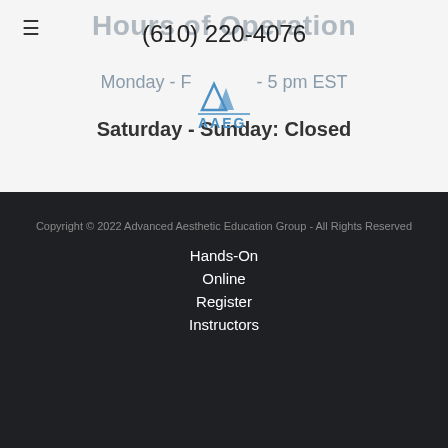≡
Hours of Operation
(610) 220-4076
[Figure (logo): AAEG logo with two triangular shapes and text AAEG in blue]
Monday - F      - 5 pm EST
Saturday - Sunday: Closed
Copyright © 2022 Advanced Aesthetic Education Group - All Rights Reserved
Hands-On
Online
Register
Instructors